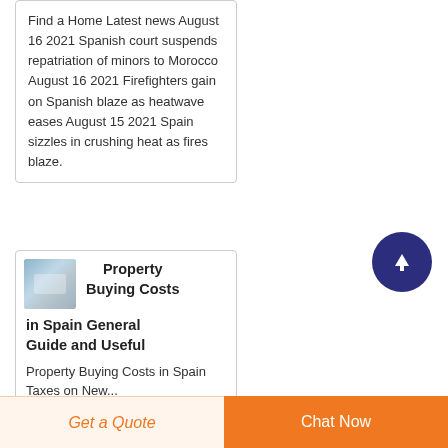Find a Home Latest news August 16 2021 Spanish court suspends repatriation of minors to Morocco August 16 2021 Firefighters gain on Spanish blaze as heatwave eases August 15 2021 Spain sizzles in crushing heat as fires blaze.
[Figure (screenshot): Small thumbnail image of property/housing related content, blue tones]
Property Buying Costs in Spain General Guide and Useful
Property Buying Costs in Spain Taxes on New...
[Figure (other): Circular scroll-to-top button with dark navy/indigo background and white upward arrow icon]
Get a Quote
Chat Now